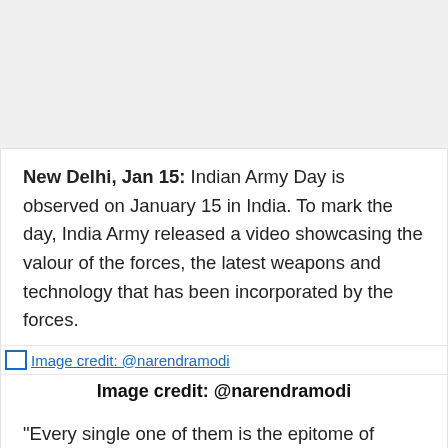New Delhi, Jan 15: Indian Army Day is observed on January 15 in India. To mark the day, India Army released a video showcasing the valour of the forces, the latest weapons and technology that has been incorporated by the forces.
[Figure (photo): Image placeholder with credit: @narendramodi]
Image credit: @narendramodi
"Every single one of them is the epitome of matchless valour and boundless determination; and embodies the motto of the Indian Army," said Service Before Self.